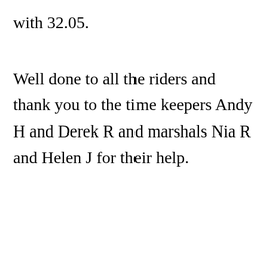with 32.05.
Well done to all the riders and thank you to the time keepers Andy H and Derek R and marshals Nia R and Helen J for their help.